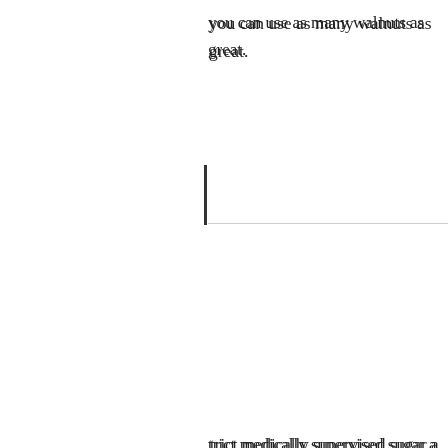×
SEARCH
[Figure (screenshot): Search button with magnifying glass icon on dark background]
MENU
you can use as many walnuts as great.
trict medically supervised sugar a SF real cheesecake because of to find this recipe for their nt approval (minus the doctor but would like us to not
illing. Is the lemon juice for taste icid or binder? Can I leave it out